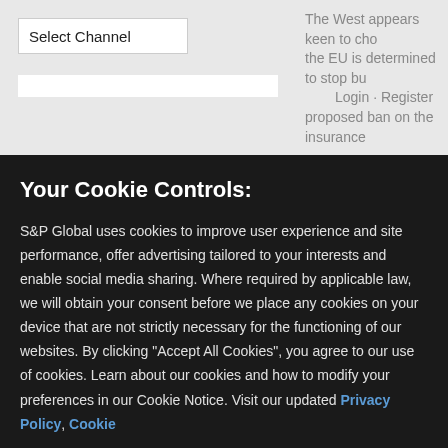Select Channel
The West appears keen to cho... the EU is determined to stop bu... proposed ban on the insurance
Login · Register
Your Cookie Controls:
S&P Global uses cookies to improve user experience and site performance, offer advertising tailored to your interests and enable social media sharing. Where required by applicable law, we will obtain your consent before we place any cookies on your device that are not strictly necessary for the functioning of our websites. By clicking "Accept All Cookies", you agree to our use of cookies. Learn about our cookies and how to modify your preferences in our Cookie Notice. Visit our updated Privacy Policy, Cookie